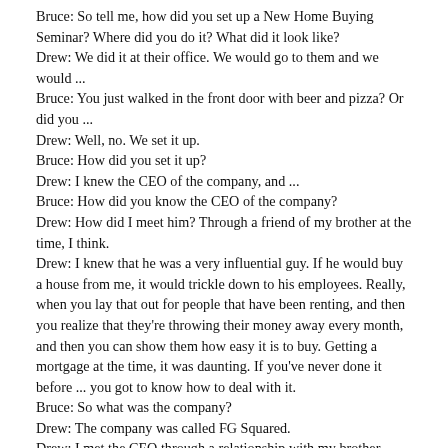Bruce: So tell me, how did you set up a New Home Buying Seminar? Where did you do it? What did it look like?
Drew: We did it at their office. We would go to them and we would ...
Bruce: You just walked in the front door with beer and pizza? Or did you ...
Drew: Well, no. We set it up.
Bruce: How did you set it up?
Drew: I knew the CEO of the company, and ...
Bruce: How did you know the CEO of the company?
Drew: How did I meet him? Through a friend of my brother at the time, I think.
Drew: I knew that he was a very influential guy. If he would buy a house from me, it would trickle down to his employees. Really, when you lay that out for people that have been renting, and then you realize that they're throwing their money away every month, and then you can show them how easy it is to buy. Getting a mortgage at the time, it was daunting. If you've never done it before ... you got to know how to deal with it.
Bruce: So what was the company?
Drew: The company was called FG Squared.
Drew: I met the CEO through a relationship with my brother.